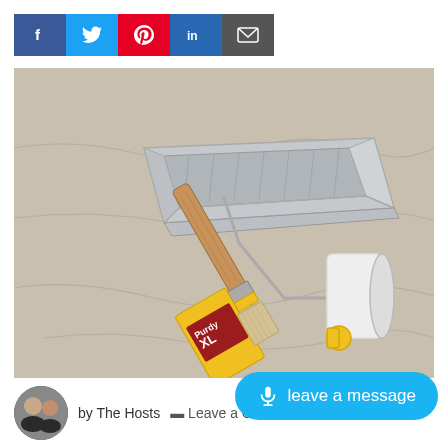[Figure (infographic): Social media share buttons: Facebook (blue), Twitter (light blue), Pinterest (red), LinkedIn (dark blue), Email (dark gray)]
[Figure (photo): A Purdy paint brush (XL), a paint roller with yellow end cap, and a silver metal paint tray, all arranged on a drop cloth.]
[Figure (other): Blue rounded pill-shaped button with microphone icon and text 'leave a message']
by The Hosts  Leave a C…